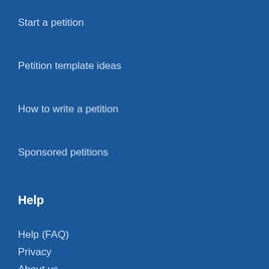Start a petition
Petition template ideas
How to write a petition
Sponsored petitions
Help
Help (FAQ)
Privacy
About us
Contact us
Terms of use